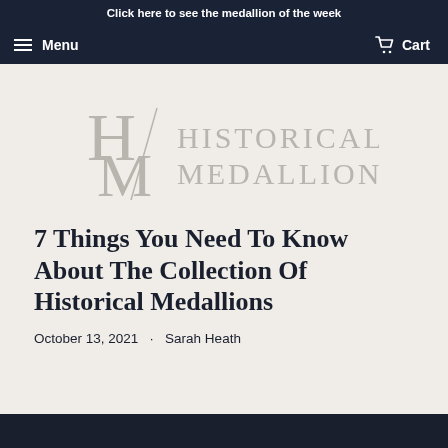Click here to see the medallion of the week
Menu  Cart
[Figure (logo): Historical Medallions logo with stylized H/M letters and text HISTORICAL MEDALLIONS]
7 Things You Need To Know About The Collection Of Historical Medallions
October 13, 2021  ·  Sarah Heath